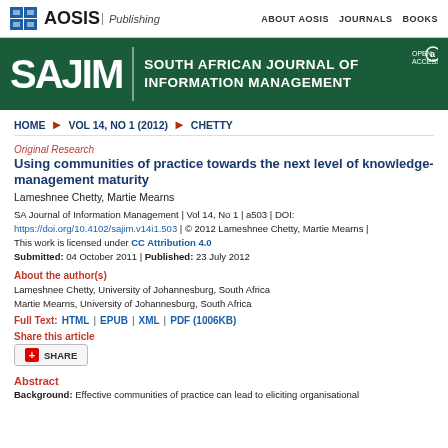AOSIS Publishing | ABOUT AOSIS | JOURNALS | BOOKS
[Figure (logo): SAJIM – South African Journal of Information Management journal banner with open access logo on dark green background]
HOME ▶ VOL 14, NO 1 (2012) ▶ CHETTY
Original Research
Using communities of practice towards the next level of knowledge-management maturity
Lameshnee Chetty, Martie Mearns
SA Journal of Information Management | Vol 14, No 1 | a503 | DOI: https://doi.org/10.4102/sajim.v14i1.503 | © 2012 Lameshnee Chetty, Martie Mearns | This work is licensed under CC Attribution 4.0 Submitted: 04 October 2011 | Published: 23 July 2012
About the author(s)
Lameshnee Chetty, University of Johannesburg, South Africa
Martie Mearns, University of Johannesburg, South Africa
Full Text: HTML | EPUB | XML | PDF (1006KB)
Share this article
Abstract
Background: Effective communities of practice can lead to eliciting organisational...